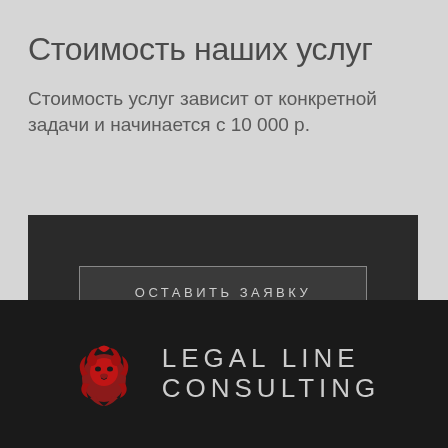Стоимость наших услуг
Стоимость услуг зависит от конкретной задачи и начинается с 10 000 р.
ОСТАВИТЬ ЗАЯВКУ
[Figure (logo): Legal Line Consulting logo with red lion head graphic and company name text]